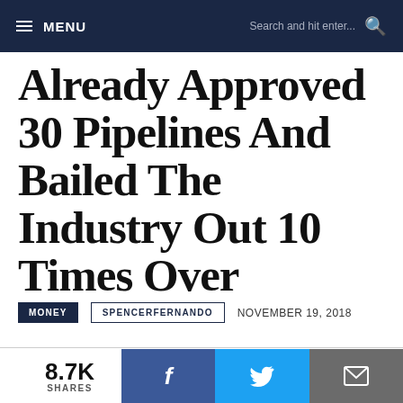MENU | Search and hit enter...
Already Approved 30 Pipelines And Bailed The Industry Out 10 Times Over
MONEY   SPENCERFERNANDO   NOVEMBER 19, 2018
8.7K SHARES